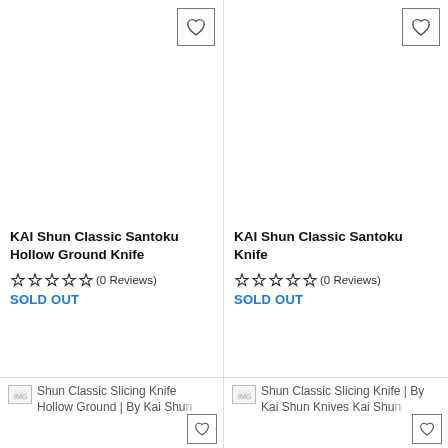[Figure (screenshot): Product listing grid showing KAI Shun Classic Santoku Hollow Ground Knife and KAI Shun Classic Santoku Knife with wishlist buttons, star ratings (0 Reviews), and SOLD OUT status. Bottom row shows thumbnails of Shun Classic Slicing Knife products.]
KAI Shun Classic Santoku Hollow Ground Knife
(0 Reviews)
SOLD OUT
KAI Shun Classic Santoku Knife
(0 Reviews)
SOLD OUT
Shun Classic Slicing Knife Hollow Ground | By Kai Shun
Shun Classic Slicing Knife | By Kai Shun Knives Kai Shun